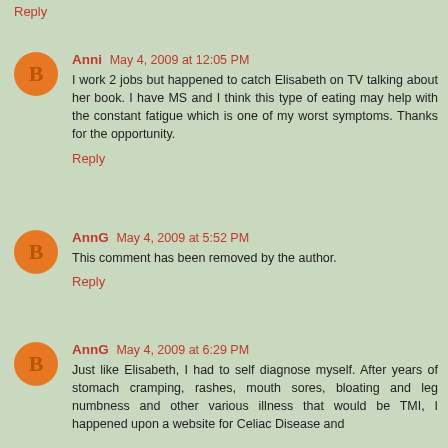Reply
Anni May 4, 2009 at 12:05 PM
I work 2 jobs but happened to catch Elisabeth on TV talking about her book. I have MS and I think this type of eating may help with the constant fatigue which is one of my worst symptoms. Thanks for the opportunity.
Reply
AnnG May 4, 2009 at 5:52 PM
This comment has been removed by the author.
Reply
AnnG May 4, 2009 at 6:29 PM
Just like Elisabeth, I had to self diagnose myself. After years of stomach cramping, rashes, mouth sores, bloating and leg numbness and other various illness that would be TMI, I happened upon a website for Celiac Disease and